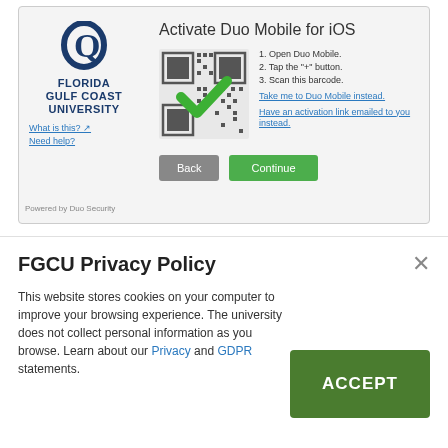[Figure (logo): Florida Gulf Coast University logo - blue Q letter with circular design and university name below]
Activate Duo Mobile for iOS
[Figure (other): QR code with green checkmark overlay for Duo Mobile activation]
1. Open Duo Mobile.
2. Tap the "+" button.
3. Scan this barcode.
Take me to Duo Mobile instead.
Have an activation link emailed to you instead.
What is this?
Need help?
Powered by Duo Security
Tablet
FGCU Privacy Policy
This website stores cookies on your computer to improve your browsing experience. The university does not collect personal information as you browse. Learn about our Privacy and GDPR statements.